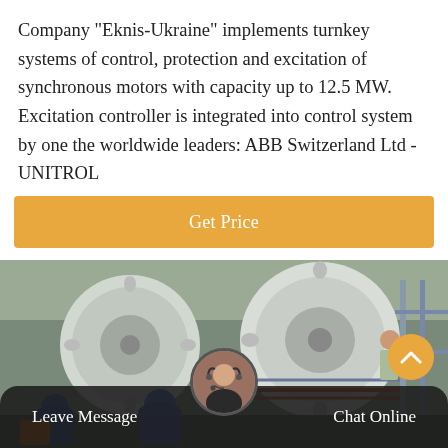Company "Eknis-Ukraine" implements turnkey systems of control, protection and excitation of synchronous motors with capacity up to 12.5 MW. Excitation controller is integrated into control system by one the worldwide leaders: ABB Switzerland Ltd - UNITROL
[Figure (other): Orange button labeled 'Get Price']
[Figure (photo): Industrial machinery photo showing workers in blue hard hats near large white synchronous motors in an industrial facility]
Leave Message    Chat Online